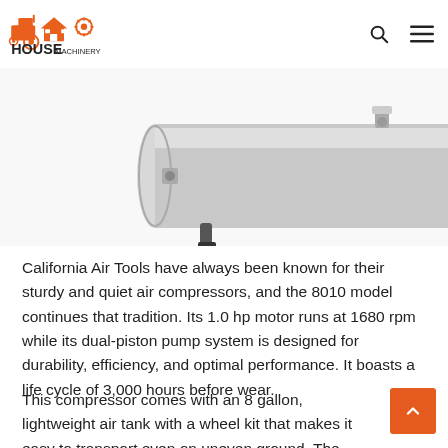[Figure (logo): House Machinery logo with orange tractor, house, and machinery icons above the text HOUSE MACHINERY]
[Figure (photo): Partial view of a California Air Tools 8010 air compressor showing the silver horizontal tank, valve fittings, and a white wheel on the right side, against a white background]
California Air Tools have always been known for their sturdy and quiet air compressors, and the 8010 model continues that tradition. Its 1.0 hp motor runs at 1680 rpm while its dual-piston pump system is designed for durability, efficiency, and optimal performance. It boasts a life cycle of 3,000 hours before wear.
This compressor comes with an 8 gallon, lightweight air tank with a wheel kit that makes it easy to transport even on uneven ground. The 8010